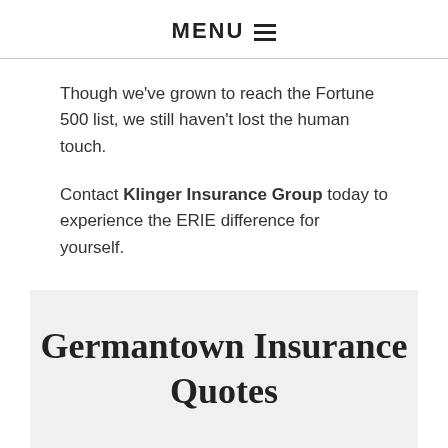MENU ☰
Though we've grown to reach the Fortune 500 list, we still haven't lost the human touch.
Contact Klinger Insurance Group today to experience the ERIE difference for yourself.
Germantown Insurance Quotes